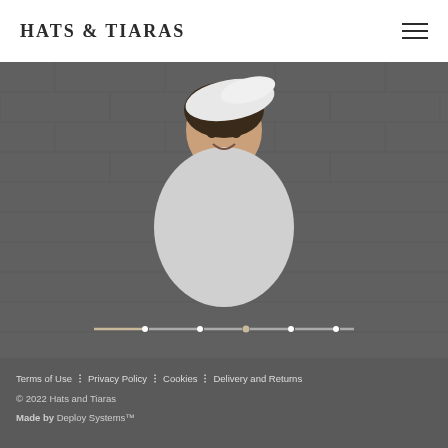Hats & Tiaras
[Figure (photo): A smiling woman wearing a white fascinator hat, standing in front of a brick wall, shown in a darkened/overlaid hero banner image with slider pagination dots at the bottom]
Terms of Use : Privacy Policy : Cookies : Delivery and Returns
© 2022 Hats and Tiaras
Made by Deploy Systems™